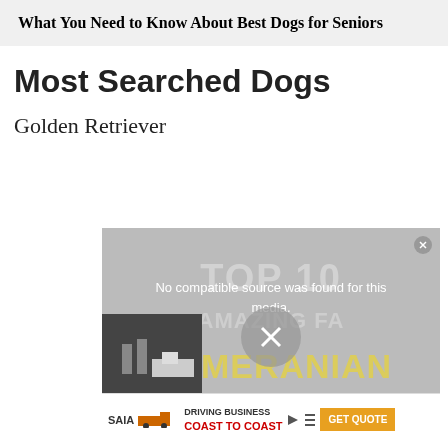What You Need to Know About Best Dogs for Seniors
Most Searched Dogs
Golden Retriever
[Figure (screenshot): A video player showing an error message 'No compatible source was found for this media.' overlaid on a background with faded text reading 'TOP 10 AMAZING FA... POMERANIAN'. A close button is in the top-right corner. Below is an advertisement for SAIA trucking with text 'DRIVING BUSINESS COAST TO COAST' and a 'GET QUOTE' button.]